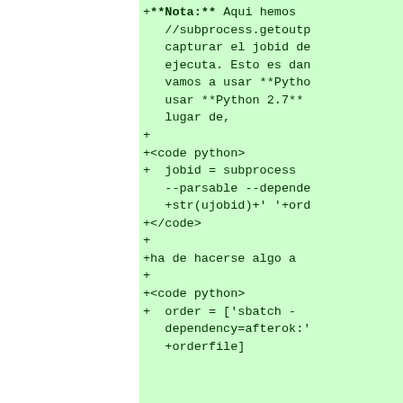+**Nota:** Aqui hemos //subprocess.getoutp capturar el jobid de ejecuta. Esto es dan vamos a usar **Pytho usar **Python 2.7** lugar de,
+
+<code python>
+  jobid = subprocess --parsable --depende +str(ujobid)+' '+ord
+</code>
+
+ha de hacerse algo a
+
+<code python>
+  order = ['sbatch - dependency=afterok:' +orderfile]